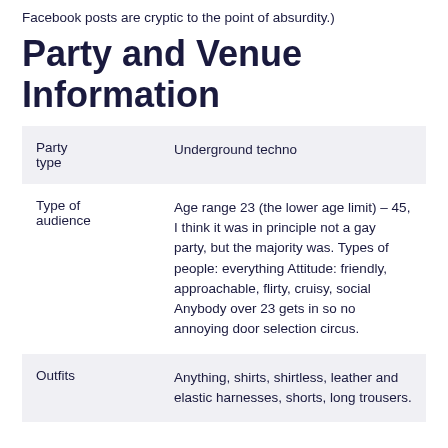Facebook posts are cryptic to the point of absurdity.)
Party and Venue Information
|  |  |
| --- | --- |
| Party type | Underground techno |
| Type of audience | Age range 23 (the lower age limit) – 45, I think it was in principle not a gay party, but the majority was. Types of people: everything Attitude: friendly, approachable, flirty, cruisy, social Anybody over 23 gets in so no annoying door selection circus. |
| Outfits | Anything, shirts, shirtless, leather and elastic harnesses, shorts, long trousers. |